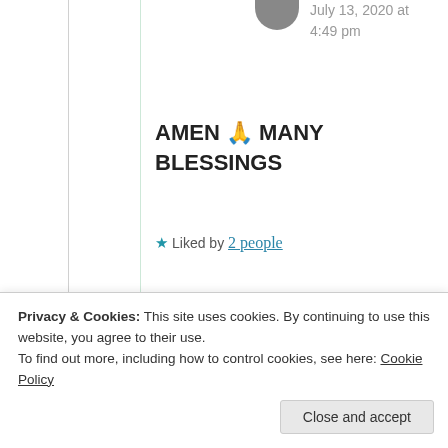July 13, 2020 at 4:49 pm
AMEN 🙏 MANY BLESSINGS
★ Liked by 2 people
P@rth...😊
July 13, 2020 at
Privacy & Cookies: This site uses cookies. By continuing to use this website, you agree to their use.
To find out more, including how to control cookies, see here: Cookie Policy
Close and accept